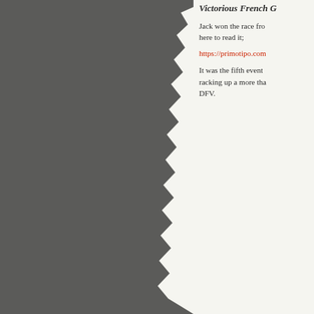[Figure (photo): Left panel showing a grey/dark background, appears to be a scanned page with torn paper edge effect on the right side]
Victorious French G
Jack won the race fro... here to read it;
https://primotipo.com
It was the fifth event ... racking up a more tha... DFV.
[Figure (photo): Close-up photo of what appears to be racing car livery or signage with red circular design elements and blue stripe on a cream/white background]